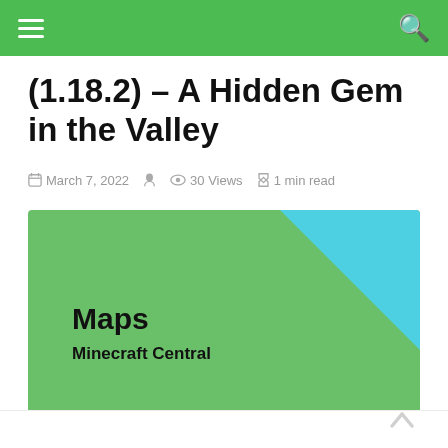≡  🔍
(1.18.2) – A Hidden Gem in the Valley
March 7, 2022  •  30 Views  •  1 min read
[Figure (illustration): Green card with cyan triangle in top-right corner, bold text 'Maps' and subtitle 'Minecraft Central' on a bright green background]